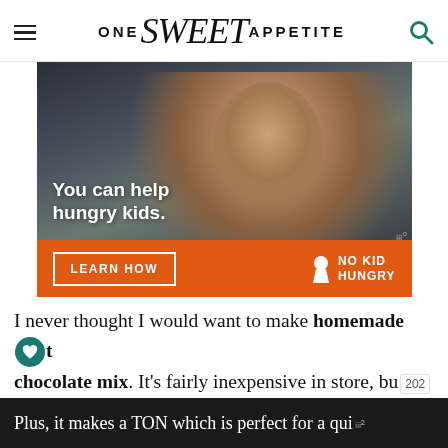ONE Sweet APPETITE
[Figure (photo): Advertisement photo of a young boy eating food, with text overlay 'You can help hungry kids.' and orange bar with 'LEARN HOW' button and 'NO KID HUNGRY' logo]
I never thought I would want to make homemade hot chocolate mix. It's fairly inexpensive in store, but here's the thing. This recipe is SO DANG EASY and incredibly simple.
Plus, it makes a TON which is perfect for a quick